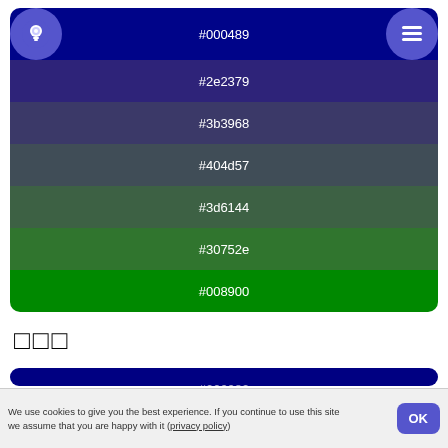[Figure (infographic): Color palette card showing gradient from deep blue #000489 through purple #2e2379, blue-gray #3b3968, slate #404d57, dark teal #3d6144, forest green #30752e, to bright green #008900. Has bulb icon top-left and hamburger menu top-right.]
□□□
[Figure (infographic): Color palette card (partially visible) showing dark blue shades: #000082, #000084, #000287]
We use cookies to give you the best experience. If you continue to use this site we assume that you are happy with it (privacy policy)